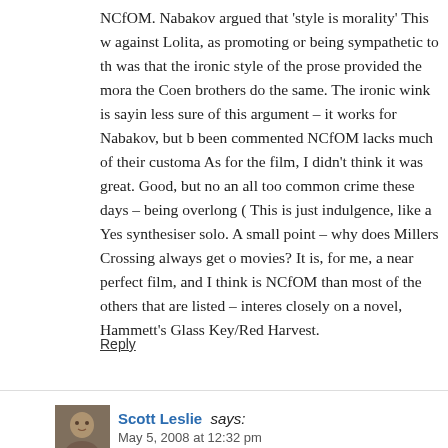NCfOM. Nabakov argued that 'style is morality' This w against Lolita, as promoting or being sympathetic to th was that the ironic style of the prose provided the mora the Coen brothers do the same. The ironic wink is sayin less sure of this argument – it works for Nabakov, but b been commented NCfOM lacks much of their customa As for the film, I didn't think it was great. Good, but no an all too common crime these days – being overlong ( This is just indulgence, like a Yes synthesiser solo. A small point – why does Millers Crossing always get o movies? It is, for me, a near perfect film, and I think is NCfOM than most of the others that are listed – interes closely on a novel, Hammett's Glass Key/Red Harvest.
Reply
Scott Leslie says:
May 5, 2008 at 12:32 pm